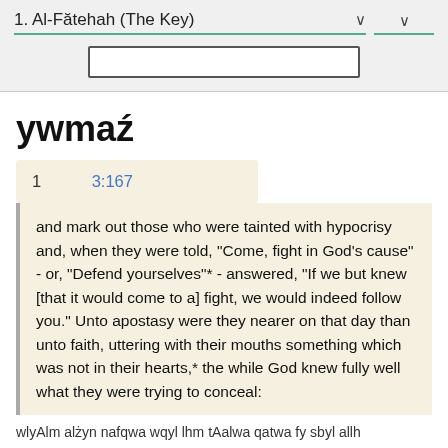1. Al-Fătehah (The Key)
ywmaź
1   3:167
and mark out those who were tainted with hypocrisy and, when they were told, "Come, fight in God's cause" - or, "Defend yourselves"* - answered, "If we but knew [that it would come to a] fight, we would indeed follow you." Unto apostasy were they nearer on that day than unto faith, uttering with their mouths something which was not in their hearts,* the while God knew fully well what they were trying to conceal:
wlyAlm alżyn nafqwa wqyl lhm tAalwa qatwa fy sbyl allh